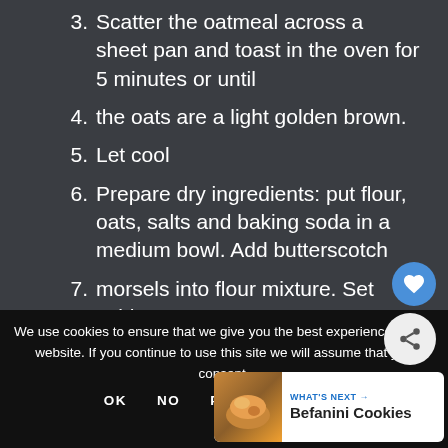3. Scatter the oatmeal across a sheet pan and toast in the oven for 5 minutes or until
4. the oats are a light golden brown.
5. Let cool
6. Prepare dry ingredients: put flour, oats, salts and baking soda in a medium bowl. Add butterscotch
7. morsels into flour mixture. Set aside
We use cookies to ensure that we give you the best experience on our website. If you continue to use this site we will assume that you consent.
OK   NO   PRIVACY POLICY